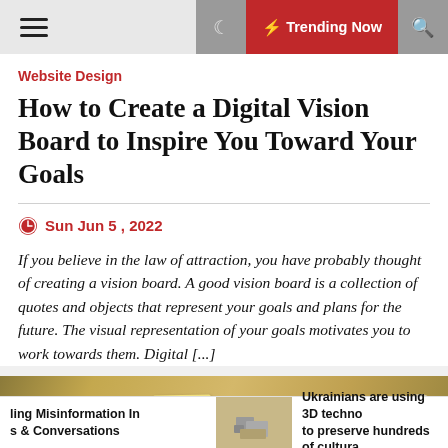☰  ☾  ⚡ Trending Now  🔍
Website Design
How to Create a Digital Vision Board to Inspire You Toward Your Goals
Sun Jun 5 , 2022
If you believe in the law of attraction, you have probably thought of creating a vision board. A good vision board is a collection of quotes and objects that represent your goals and plans for the future. The visual representation of your goals motivates you to work towards them. Digital [...]
[Figure (photo): Sticky notes with handwritten words like 'Love', 'future', on a warm golden/brown background]
ling Misinformation In s & Conversations | Ukrainians are using 3D techno to preserve hundreds of cultura